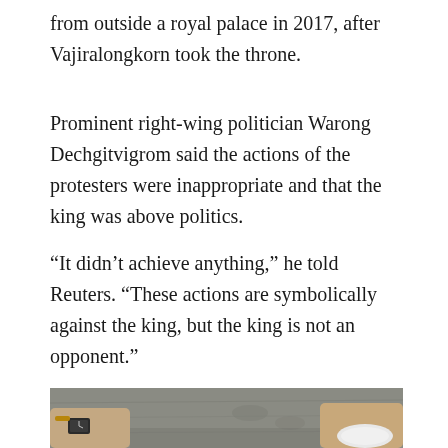from outside a royal palace in 2017, after Vajiralongkorn took the throne.
Prominent right-wing politician Warong Dechgitvigrom said the actions of the protesters were inappropriate and that the king was above politics.
“It didn’t achieve anything,” he told Reuters. “These actions are symbolically against the king, but the king is not an opponent.”
[Figure (photo): Close-up photo of hands on a gray stone or concrete surface, one hand wearing a watch and bracelet, another hand holding a white cloth or object, pressing or rubbing against the surface.]